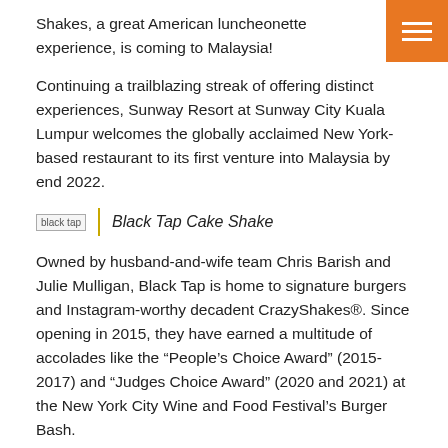Shakes, a great American luncheonette experience, is coming to Malaysia!
Continuing a trailblazing streak of offering distinct experiences, Sunway Resort at Sunway City Kuala Lumpur welcomes the globally acclaimed New York-based restaurant to its first venture into Malaysia by end 2022.
[Figure (photo): Black tap image placeholder with caption: Black Tap Cake Shake]
Black Tap Cake Shake
Owned by husband-and-wife team Chris Barish and Julie Mulligan, Black Tap is home to signature burgers and Instagram-worthy decadent CrazyShakes®. Since opening in 2015, they have earned a multitude of accolades like the "People's Choice Award" (2015-2017) and "Judges Choice Award" (2020 and 2021) at the New York City Wine and Food Festival's Burger Bash.
As of today, Black Tap is now available in iconic destinations across the US such as The Venetian Resort Las Vegas, the